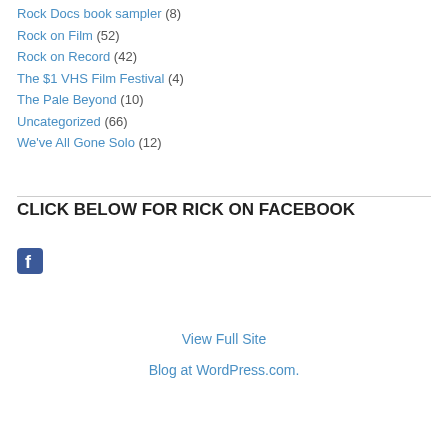Rock Docs book sampler (8)
Rock on Film (52)
Rock on Record (42)
The $1 VHS Film Festival (4)
The Pale Beyond (10)
Uncategorized (66)
We've All Gone Solo (12)
CLICK BELOW FOR RICK ON FACEBOOK
[Figure (logo): Facebook logo icon — blue square with white 'f']
View Full Site
Blog at WordPress.com.